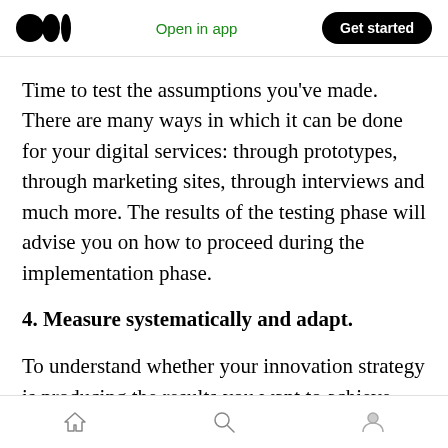Open in app   Get started
Time to test the assumptions you’ve made. There are many ways in which it can be done for your digital services: through prototypes, through marketing sites, through interviews and much more. The results of the testing phase will advise you on how to proceed during the implementation phase.
4. Measure systematically and adapt.
To understand whether your innovation strategy is producing the results you want to achieve, you need to continuously monitor it. Each goal
Home  Search  Profile